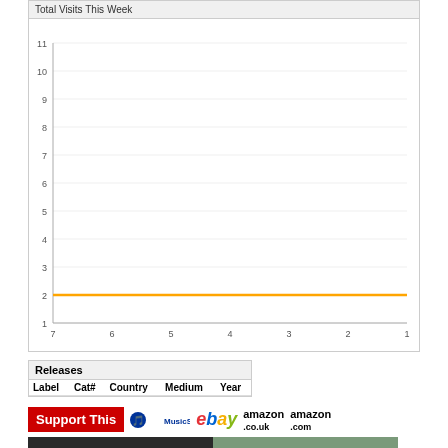Total Visits This Week
[Figure (line-chart): Total Visits This Week]
| Label | Cat# | Country | Medium | Year |
| --- | --- | --- | --- | --- |
Support This
[Figure (logo): MusicStack logo]
[Figure (logo): eBay logo]
[Figure (logo): amazon.co.uk logo]
[Figure (logo): amazon.com logo]
[Figure (photo): Two album cover photos side by side]